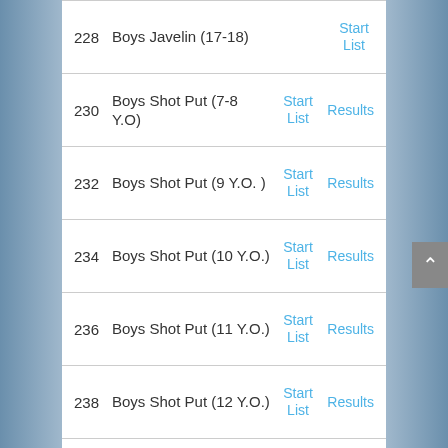| # | Event | Links |  |
| --- | --- | --- | --- |
| 228 | Boys Javelin (17-18) | Start List |  |
| 230 | Boys Shot Put (7-8 Y.O) | Start List | Results |
| 232 | Boys Shot Put (9 Y.O. ) | Start List | Results |
| 234 | Boys Shot Put (10 Y.O.) | Start List | Results |
| 236 | Boys Shot Put (11 Y.O.) | Start List | Results |
| 238 | Boys Shot Put (12 Y.O.) | Start List | Results |
| 240 | Boys Shot Put (13 Y.O.) | Start List | Results |
|  |  | Start |  |